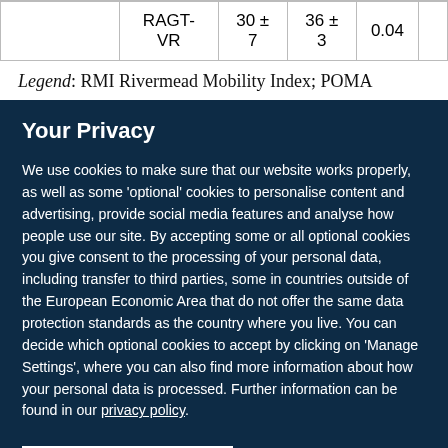| RAGT-VR | 30 ± 7 | 36 ± 3 | 0.04 |
Legend: RMI Rivermead Mobility Index; POMA
Your Privacy
We use cookies to make sure that our website works properly, as well as some 'optional' cookies to personalise content and advertising, provide social media features and analyse how people use our site. By accepting some or all optional cookies you give consent to the processing of your personal data, including transfer to third parties, some in countries outside of the European Economic Area that do not offer the same data protection standards as the country where you live. You can decide which optional cookies to accept by clicking on 'Manage Settings', where you can also find more information about how your personal data is processed. Further information can be found in our privacy policy.
Accept all cookies
Manage preferences